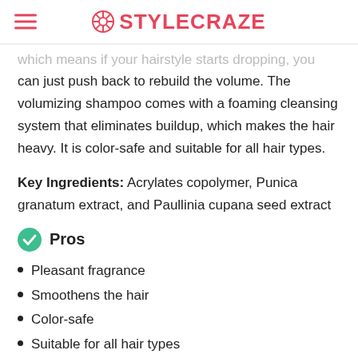STYLECRAZE
which means if your hairstyle starts dropping, you can just push back to rebuild the volume. The volumizing shampoo comes with a foaming cleansing system that eliminates buildup, which makes the hair heavy. It is color-safe and suitable for all hair types.
Key Ingredients: Acrylates copolymer, Punica granatum extract, and Paullinia cupana seed extract
Pros
Pleasant fragrance
Smoothens the hair
Color-safe
Suitable for all hair types